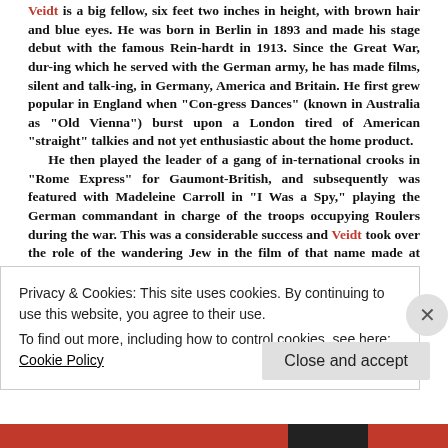Veidt is a big fellow, six feet two inches in height, with brown hair and blue eyes. He was born in Berlin in 1893 and made his stage debut with the famous Reinhardt in 1913. Since the Great War, during which he served with the German army, he has made films, silent and talking, in Germany, America and Britain. He first grew popular in England when "Congress Dances" (known in Australia as "Old Vienna") burst upon a London tired of American "straight" talkies and not yet enthusiastic about the home product. He then played the leader of a gang of international crooks in "Rome Express" for Gaumont-British, and subsequently was featured with Madeleine Carroll in "I Was a Spy," playing the German commandant in charge of the troops occupying Roulers during the war. This was a considerable success and Veidt took over the role of the wandering Jew in the film of that name made at Twickenham. Now he is
Privacy & Cookies: This site uses cookies. By continuing to use this website, you agree to their use.
To find out more, including how to control cookies, see here: Cookie Policy